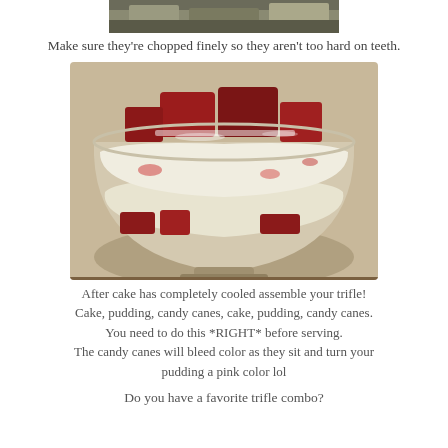[Figure (photo): Partial top photo of chopped ingredients, cropped view]
Make sure they're chopped finely so they aren't too hard on teeth.
[Figure (photo): A red velvet trifle in a large glass bowl, showing layers of red cake, white pudding, and powdered sugar, assembled in a dessert trifle dish]
After cake has completely cooled assemble your trifle! Cake, pudding, candy canes, cake, pudding, candy canes. You need to do this *RIGHT* before serving. The candy canes will bleed color as they sit and turn your pudding a pink color lol
Do you have a favorite trifle combo?